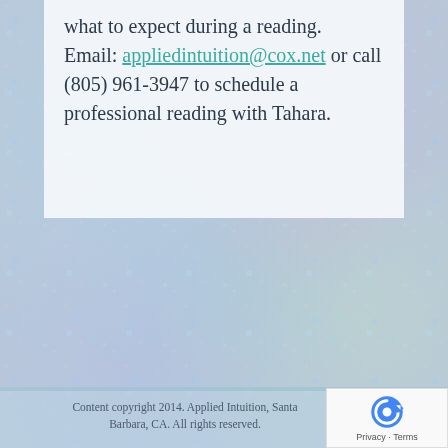what to expect during a reading. Email: appliedintuition@cox.net or call (805) 961-3947 to schedule a professional reading with Tahara.
Content copyright 2014. Applied Intuition, Santa Barbara, CA. All rights reserved.